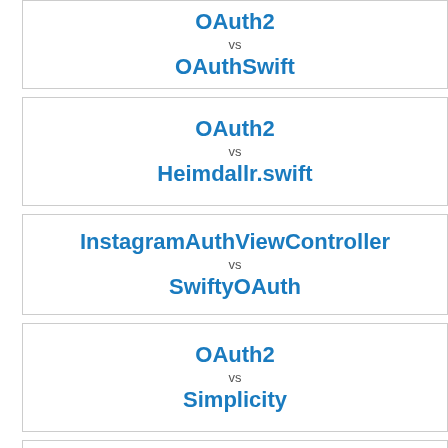OAuth2 vs OAuthSwift
OAuth2 vs Heimdallr.swift
InstagramAuthViewController vs SwiftyOAuth
OAuth2 vs Simplicity
OAuth2 vs ReCaptcha